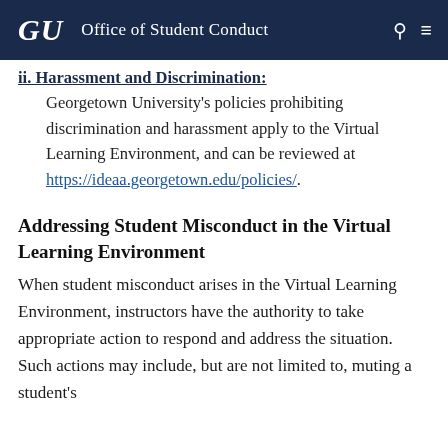GU  Office of Student Conduct
ii. Harassment and Discrimination:
Georgetown University's policies prohibiting discrimination and harassment apply to the Virtual Learning Environment, and can be reviewed at https://ideaa.georgetown.edu/policies/.
Addressing Student Misconduct in the Virtual Learning Environment
When student misconduct arises in the Virtual Learning Environment, instructors have the authority to take appropriate action to respond and address the situation.  Such actions may include, but are not limited to, muting a student's